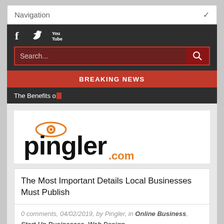Navigation
[Figure (screenshot): Social media icons: Facebook, Twitter, YouTube on dark background]
[Figure (screenshot): Search bar with red border and search button]
BREAKING NEWS
The Benefits o
[Figure (logo): Pingler.com logo with orange eye icon]
The Most Important Details Local Businesses Must Publish
0 comments, 04/02/2019, by Pingler, in Online Business, Start Up Businesses, Web Design
[Figure (photo): Partial article image, dark background, with 'Online' text visible]